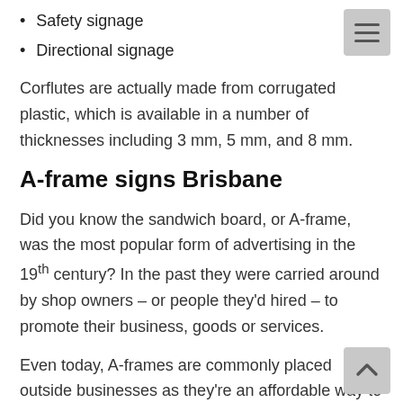Safety signage
Directional signage
Corflutes are actually made from corrugated plastic, which is available in a number of thicknesses including 3 mm, 5 mm, and 8 mm.
A-frame signs Brisbane
Did you know the sandwich board, or A-frame, was the most popular form of advertising in the 19th century? In the past they were carried around by shop owners – or people they'd hired – to promote their business, goods or services.
Even today, A-frames are commonly placed outside businesses as they're an affordable way to reach many potential customers, including vehicle and foot traffic